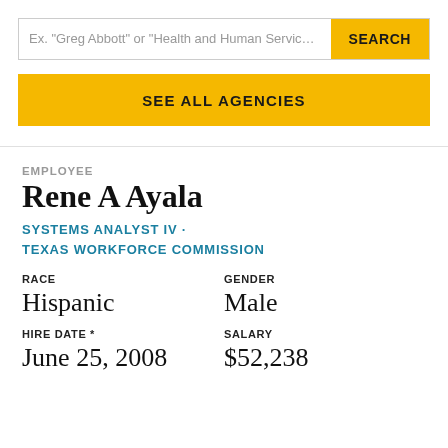Ex. "Greg Abbott" or "Health and Human Services C
SEARCH
SEE ALL AGENCIES
EMPLOYEE
Rene A Ayala
SYSTEMS ANALYST IV · TEXAS WORKFORCE COMMISSION
| RACE | GENDER |
| --- | --- |
| Hispanic | Male |
| HIRE DATE * | SALARY |
| --- | --- |
| June 25, 2008 | $52,238 |